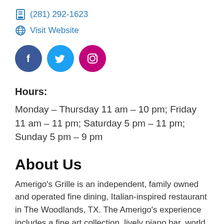(281) 292-1623
Visit Website
[Figure (illustration): Three social media icons: Facebook (blue circle), Twitter (light blue circle), Instagram (pink/magenta circle)]
Hours:
Monday – Thursday 11 am – 10 pm; Friday 11 am – 11 pm; Saturday 5 pm – 11 pm; Sunday 5 pm – 9 pm
About Us
Amerigo's Grille is an independent, family owned and operated fine dining, Italian-inspired restaurant in The Woodlands, TX. The Amerigo's experience includes a fine art collection, lively piano bar, world class wine cellar, patio seating in a garden setting, and an entire floor dedicated to private dining. Great for special occasions, business lunches, corporate dinners, and